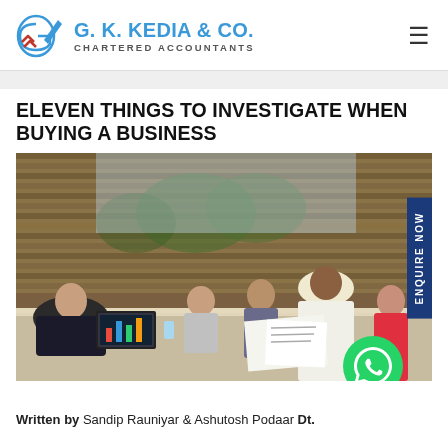G. K. KEDIA & CO. CHARTERED ACCOUNTANTS
ELEVEN THINGS TO INVESTIGATE WHEN BUYING A BUSINESS
[Figure (photo): Business meeting photo showing professionals around a conference table with a laptop displaying charts, large windows with wooden blinds in background, 'ENQUIRE NOW' button on right side, WhatsApp button at bottom right]
Written by Sandip Rauniyar & Ashutosh Podaar Dt.